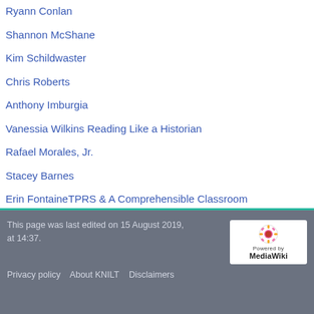Ryann Conlan
Shannon McShane
Kim Schildwaster
Chris Roberts
Anthony Imburgia
Vanessia Wilkins Reading Like a Historian
Rafael Morales, Jr.
Stacey Barnes
Erin FontaineTPRS & A Comprehensible Classroom
This page was last edited on 15 August 2019, at 14:37.

Privacy policy   About KNILT   Disclaimers